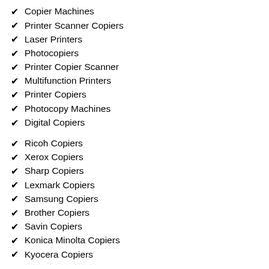Copier Machines
Printer Scanner Copiers
Laser Printers
Photocopiers
Printer Copier Scanner
Multifunction Printers
Printer Copiers
Photocopy Machines
Digital Copiers
Ricoh Copiers
Xerox Copiers
Sharp Copiers
Lexmark Copiers
Samsung Copiers
Brother Copiers
Savin Copiers
Konica Minolta Copiers
Kyocera Copiers